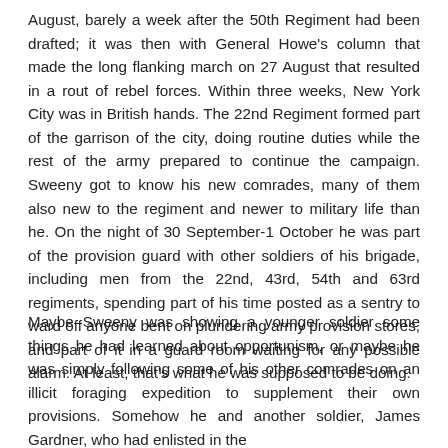August, barely a week after the 50th Regiment had been drafted; it was then with General Howe's column that made the long flanking march on 27 August that resulted in a rout of rebel forces. Within three weeks, New York City was in British hands. The 22nd Regiment formed part of the garrison of the city, doing routine duties while the rest of the army prepared to continue the campaign. Sweeny got to know his new comrades, many of them also new to the regiment and newer to military life than he. On the night of 30 September-1 October he was part of the provision guard with other soldiers of his brigade, including men from the 22nd, 43rd, 54th and 63rd regiments, spending part of his time posted as a sentry to ward off anyone bent on plundering army provision stores, and part of it in a guard room waiting for any possible alarm. At least, that's what he was supposed to be doing.
Maybe Sweeny was showing a younger soldier some things he had learned about opportunism, or maybe he was simply following some of his other comrades on an illicit foraging expedition to supplement their own provisions. Somehow he and another soldier, James Gardner, who had enlisted in the